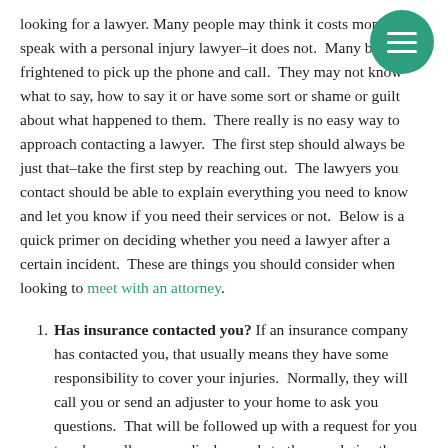looking for a lawyer. Many people may think it costs money to speak with a personal injury lawyer–it does not.  Many be frightened to pick up the phone and call.  They may not know what to say, how to say it or have some sort or shame or guilt about what happened to them.  There really is no easy way to approach contacting a lawyer.  The first step should always be just that–take the first step by reaching out.  The lawyers you contact should be able to explain everything you need to know and let you know if you need their services or not.  Below is a quick primer on deciding whether you need a lawyer after a certain incident.  These are things you should consider when looking to meet with an attorney.
Has insurance contacted you? If an insurance company has contacted you, that usually means they have some responsibility to cover your injuries.  Normally, they will call you or send an adjuster to your home to ask you questions.  That will be followed up with a request for you to release all your medical records to them and give them a recorded statement of the events.  We need